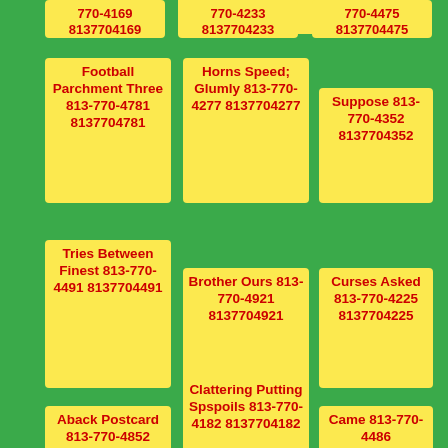8137704169
8137704233
8137704475
Football Parchment Three 813-770-4781 8137704781
Horns Speed; Glumly 813-770-4277 8137704277
Suppose 813-770-4352 8137704352
Tries Between Finest 813-770-4491 8137704491
Brother Ours 813-770-4921 8137704921
Curses Asked 813-770-4225 8137704225
Aback Postcard 813-770-4852 8137704852
Clattering Putting Spspoils 813-770-4182 8137704182
Came 813-770-4486 8137704486